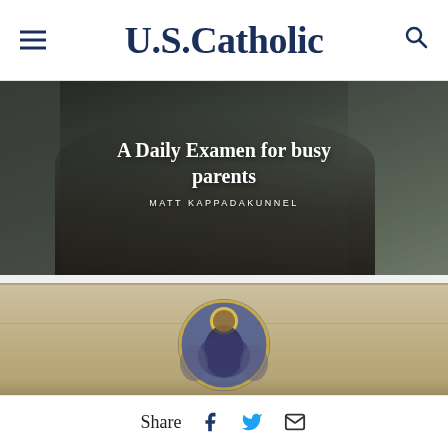U.S.Catholic
[Figure (photo): Father and daughter washing hands at kitchen sink, dark atmospheric kitchen photo with title overlay: 'A Daily Examen for busy parents' by Matt Kappadakunnel]
[Figure (photo): Ancient religious fresco/mosaic depicting a saint with halo in circular frame against stone wall, with partial title overlay: 'What is the difference']
Share